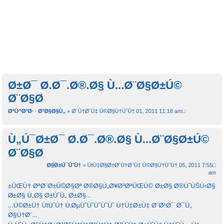Ø±Ø¯ Ø.Ø¯.Ø®.Ø§ Ù...Ø¨Ø§Ø±Ú© Ø¨Ø§Ø
ØªÙ^Ø³Ø· Ø³Ø§Ø§Ù„ » Ø´Ù†Ø¨Ù‡ Ú©Ø§Ù†ÙˆÙ† 01, 2011 11:18 am
Ù„Ú¯Ø±Ø¯ Ø.Ø¯.Ø®.Ø§ Ù...Ø¨Ø§Ø±Ú© Ø¨Ø§Ø
Ø§Ø±Ú¯ÙˆÙ† » ÚtÙ‡Ø§Ø±Ø´Ù†Ø¨Ù‡ Ú©Ø§Ù†ÙˆÙ† 05, 2011 7:55 am
±ÛŒÙ† ØªØ¨Ø±Û©Ø§Øª Ø®Ø§Ù„Ø¥Ø§Øª Ø®ÙˆÙŠÙ‹Ø§ Ø±Ø§ ... ...ÛŒÙ† Ø³Ø§Ù„Ù„Ú¯Ø±Ø¯ ØªØ§Ø³Ø³ÛŒÙ‹Ø³ ØØ²Ø¨ Ø¯Ù„ ... Ù„ÙˆÙ„ Ø§Ù„ÛŒÙ‹Ø§Ù†Ø³Ø§Ù†ÙŠ Ø¯ÙˆÙ† Ù‡ÙˆÙ„...Ù‡ Ø±Ù„Ù‹Ù„ÙˆÙ„ Ù„Ù‡ Ø³Ø§Ù„Ù‹ Ù„Ø§Ù‡Ø§Ù„